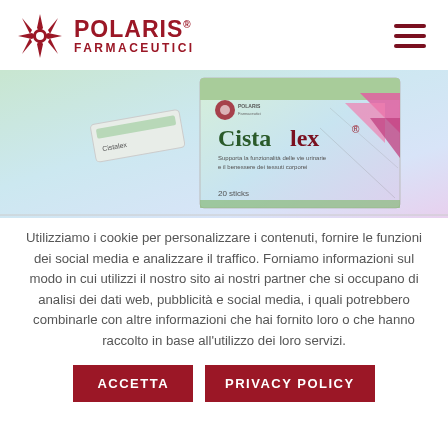[Figure (logo): Polaris Farmaceutici logo with decorative snowflake/star emblem in dark red and text POLARIS FARMACEUTICI]
[Figure (photo): Cistalex product box and sachet packet on white/gradient background. Box shows Cistalex branding with pink/magenta triangles and green accents, 20 sticks.]
Utilizziamo i cookie per personalizzare i contenuti, fornire le funzioni dei social media e analizzare il traffico. Forniamo informazioni sul modo in cui utilizzi il nostro sito ai nostri partner che si occupano di analisi dei dati web, pubblicità e social media, i quali potrebbero combinarle con altre informazioni che hai fornito loro o che hanno raccolto in base all'utilizzo dei loro servizi.
ACCETTA
PRIVACY POLICY